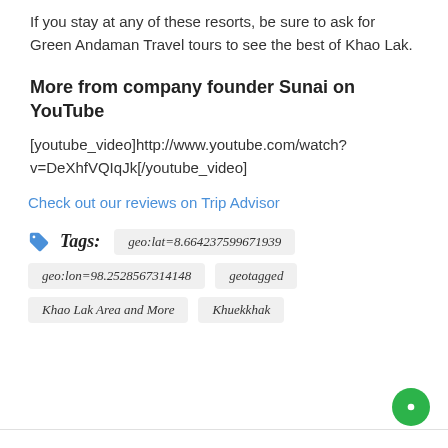If you stay at any of these resorts, be sure to ask for Green Andaman Travel tours to see the best of Khao Lak.
More from company founder Sunai on YouTube
[youtube_video]http://www.youtube.com/watch?v=DeXhfVQIqJk[/youtube_video]
Check out our reviews on Trip Advisor
Tags: geo:lat=8.664237599671939 geo:lon=98.2528567314148 geotagged Khao Lak Area and More Khuekkhak